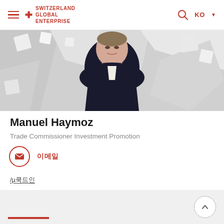Switzerland Global Enterprise — KO navigation header
[Figure (photo): Banner photo of Manuel Haymoz, a man in a dark suit jacket and open white shirt, against a white abstract geometric background]
Manuel Haymoz
Trade Commissioner Investment Promotion
이메일 (email icon with link label)
링크드인 (LinkedIn link, underlined)